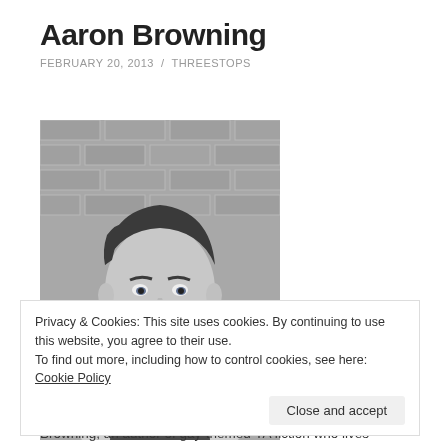Aaron Browning
FEBRUARY 20, 2013 / THREESTOPS
[Figure (photo): Black and white portrait photo of a young man with dark hair, smiling, wearing a dark vest over a white dress shirt with a dark tie, leaning against a brick wall.]
Privacy & Cookies: This site uses cookies. By continuing to use this website, you agree to their use.
To find out more, including how to control cookies, see here: Cookie Policy
Close and accept
Browning, an author of gay-themed YA fiction who lives